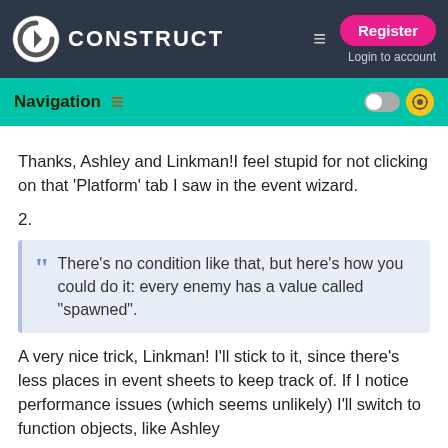CONSTRUCT — Register / Login to account
Navigation
Thanks, Ashley and Linkman!I feel stupid for not clicking on that 'Platform' tab I saw in the event wizard.
2.
There's no condition like that, but here's how you could do it: every enemy has a value called "spawned".
A very nice trick, Linkman! I'll stick to it, since there's less places in event sheets to keep track of. If I notice performance issues (which seems unlikely) I'll switch to function objects, like Ashley